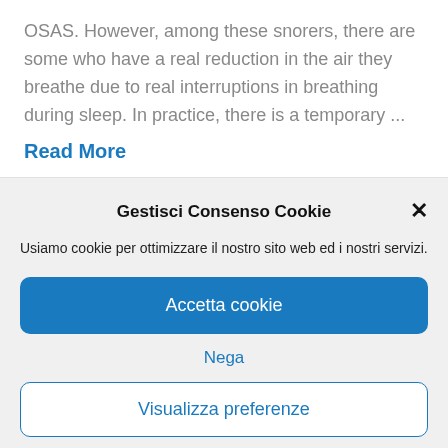OSAS. However, among these snorers, there are some who have a real reduction in the air they breathe due to real interruptions in breathing during sleep. In practice, there is a temporary ...
Read More
Gestisci Consenso Cookie
Usiamo cookie per ottimizzare il nostro sito web ed i nostri servizi.
Accetta cookie
Nega
Visualizza preferenze